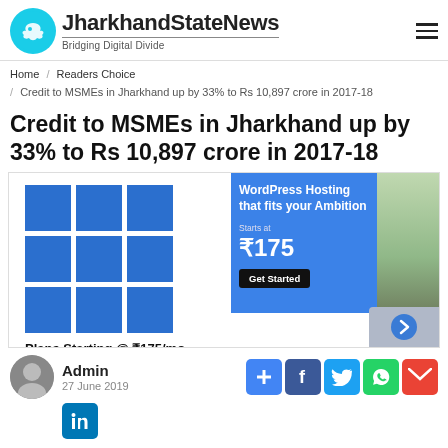[Figure (logo): JharkhandStateNews logo with cyan circle containing white bird silhouette, site name and tagline 'Bridging Digital Divide']
Home / Readers Choice / Credit to MSMEs in Jharkhand up by 33% to Rs 10,897 crore in 2017-18
Credit to MSMEs in Jharkhand up by 33% to Rs 10,897 crore in 2017-18
[Figure (screenshot): Advertisement block: hosting plans starting at ₹175/mo with Microsoft grid logo, WordPress hosting ad with Get Started button]
Admin
27 June 2019
[Figure (infographic): Social sharing icons: +, Facebook, Twitter, WhatsApp, Gmail, LinkedIn]